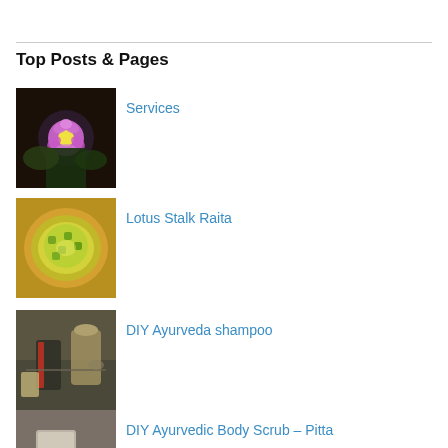Top Posts & Pages
[Figure (photo): Purple lotus flower photo thumbnail]
Services
[Figure (photo): Lotus Stalk Raita in a bowl photo thumbnail]
Lotus Stalk Raita
[Figure (photo): DIY Ayurveda shampoo ingredients photo thumbnail]
DIY Ayurveda shampoo
[Figure (photo): DIY Ayurvedic Body Scrub Pitta photo thumbnail]
DIY Ayurvedic Body Scrub – Pitta